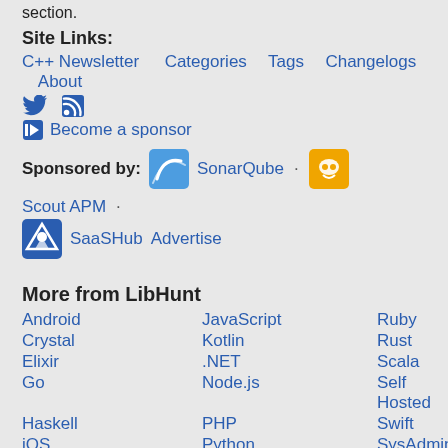section.
Site Links:
C++ Newsletter   Categories   Tags   Changelogs   About
[Figure (illustration): Twitter bird icon and RSS feed icon]
🏴 Become a sponsor
Sponsored by:  SonarQube  ·  Scout APM  ·  SaaSHub  Advertise
More from LibHunt
Android
JavaScript
Ruby
Crystal
Kotlin
Rust
Elixir
.NET
Scala
Go
Node.js
Self Hosted
Haskell
PHP
Swift
iOS
Python
SysAdmin